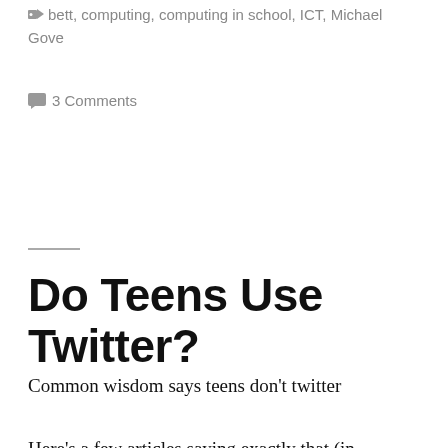thoughts
bett, computing, computing in school, ICT, Michael Gove
3 Comments
Do Teens Use Twitter?
Common wisdom says teens don't twitter

Here's a few articles saying exactly that (in chronological order 2011 to 2009)